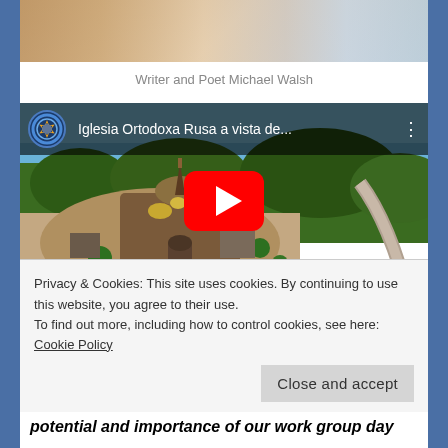[Figure (photo): Partial photo strip showing outdoor scene at top of page]
Writer and Poet Michael Walsh
[Figure (screenshot): YouTube video embed showing aerial view of Iglesia Ortodoxa Rusa with play button overlay. Video title: Iglesia Ortodoxa Rusa a vista de...]
Privacy & Cookies: This site uses cookies. By continuing to use this website, you agree to their use.
To find out more, including how to control cookies, see here: Cookie Policy
Close and accept
potential and importance of our work group day